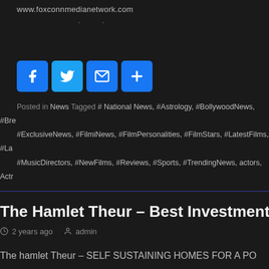www.foxconnmedianetwork.com
, ,
[Figure (infographic): Social share buttons: Facebook (blue F icon), Twitter (blue bird icon), Email (blue envelope icon), More/Share (blue plus icon)]
Posted in News Tagged # National News, #Astrology, #BollywoodNews, #Bre #ExclusiveNews, #FilmiNews, #FilmPersonalities, #FilmStars, #LatestFilms, #La #MusicDirectors, #NewFilms, #Reviews, #Sports, #TrendingNews, actors, Actr
The Hamlet Theur – Best Investment Project In Pun
2 years ago  admin
The hamlet Theur – SELF SUSTAINING HOMES FOR A PO